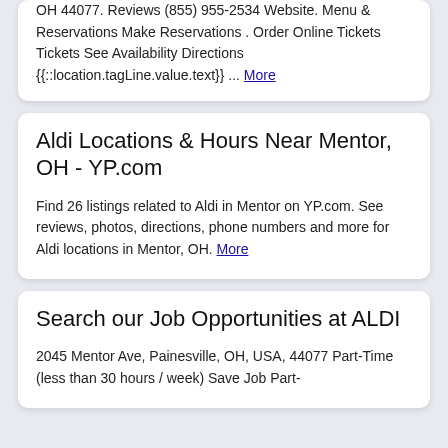OH 44077. Reviews (855) 955-2534 Website. Menu & Reservations Make Reservations . Order Online Tickets Tickets See Availability Directions {{::location.tagLine.value.text}} ... More
Aldi Locations & Hours Near Mentor, OH - YP.com
Find 26 listings related to Aldi in Mentor on YP.com. See reviews, photos, directions, phone numbers and more for Aldi locations in Mentor, OH. More
Search our Job Opportunities at ALDI
2045 Mentor Ave, Painesville, OH, USA, 44077 Part-Time (less than 30 hours / week) Save Job Part-